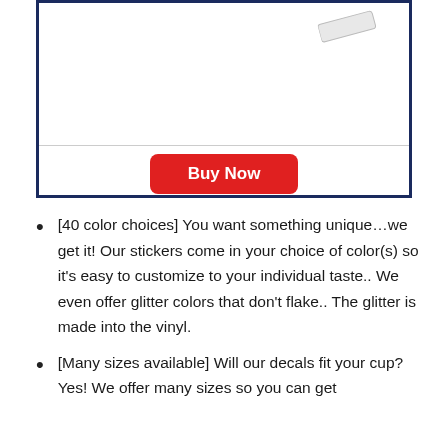[Figure (other): Product listing box with a navy blue border, containing a product image area at the top (showing a partial sticker/decal shape in upper right) with a horizontal dividing line, and a red 'Buy Now' button centered below.]
[40 color choices] You want something unique…we get it! Our stickers come in your choice of color(s) so it's easy to customize to your individual taste.. We even offer glitter colors that don't flake.. The glitter is made into the vinyl.
[Many sizes available] Will our decals fit your cup? Yes! We offer many sizes so you can get